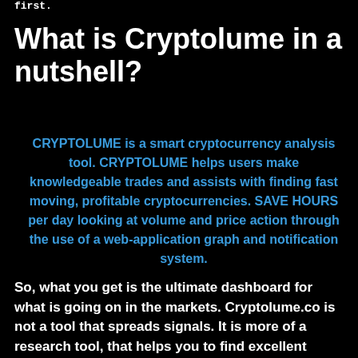first.
What is Cryptolume in a nutshell?
CRYPTOLUME is a smart cryptocurrency analysis tool. CRYPTOLUME helps users make knowledgeable trades and assists with finding fast moving, profitable cryptocurrencies. SAVE HOURS per day looking at volume and price action through the use of a web-application graph and notification system.
So, what you get is the ultimate dashboard for what is going on in the markets. Cryptolume.co is not a tool that spreads signals. It is more of a research tool, that helps you to find excellent trading opportunities by using simple indicators